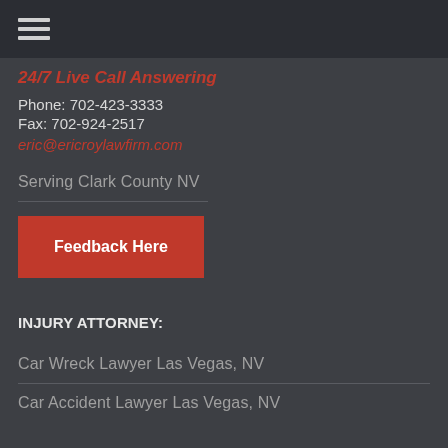≡ (navigation menu icon)
24/7 Live Call Answering
Phone: 702-423-3333
Fax: 702-924-2517
eric@ericroylawfirm.com
Serving Clark County NV
Feedback Here
INJURY ATTORNEY:
Car Wreck Lawyer Las Vegas, NV
Car Accident Lawyer Las Vegas, NV